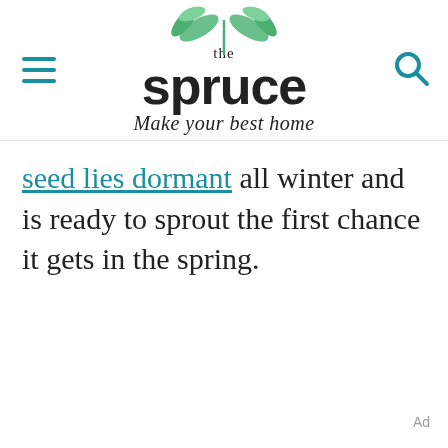the spruce — Make your best home
seed lies dormant all winter and is ready to sprout the first chance it gets in the spring.
Ad